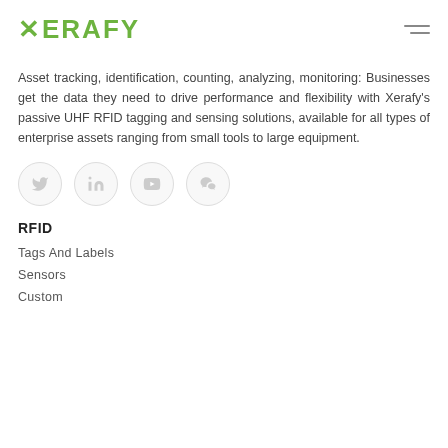XERAFY
Asset tracking, identification, counting, analyzing, monitoring: Businesses get the data they need to drive performance and flexibility with Xerafy's passive UHF RFID tagging and sensing solutions, available for all types of enterprise assets ranging from small tools to large equipment.
[Figure (other): Row of four social media icon buttons (Twitter, LinkedIn, YouTube, WeChat), each in a light grey circle outline]
RFID
Tags And Labels
Sensors
Custom